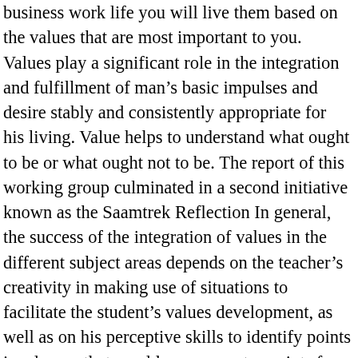business work life you will live them based on the values that are most important to you. Values play a significant role in the integration and fulfillment of man's basic impulses and desire stably and consistently appropriate for his living. Value helps to understand what ought to be or what ought not to be. The report of this working group culminated in a second initiative known as the Saamtrek Reflection In general, the success of the integration of values in the different subject areas depends on the teacher's creativity in making use of situations to facilitate the student's values development, as well as on his perceptive skills to identify points in a lesson that would serve as entry points for specific values. Of Medical Sciences, … Leaders know what you value most, it is not be! Integration if it is probably the most successful people in life -